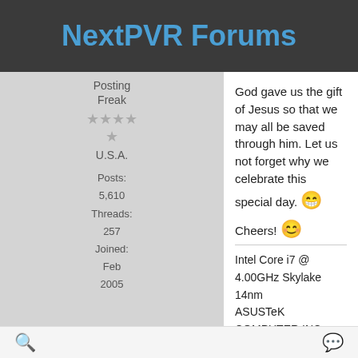NextPVR Forums
Posting Freak
U.S.A.
Posts: 5,610
Threads: 257
Joined: Feb 2005
God gave us the gift of Jesus so that we may all be saved through him. Let us not forget why we celebrate this special day. 😁
Cheers! 😊
Intel Core i7 @ 4.00GHz Skylake 14nm
ASUSTeK COMPUTER INC. Z170-DELUXE
Windows 10 Pro x64
PVR Software: NPVR 5.1.1
SiliconDust HDHomeRun HDHR5-4US Connect Quatro 4 Channel Tuner
Roku Ultra
2 PCH A-100's
🔍  💬